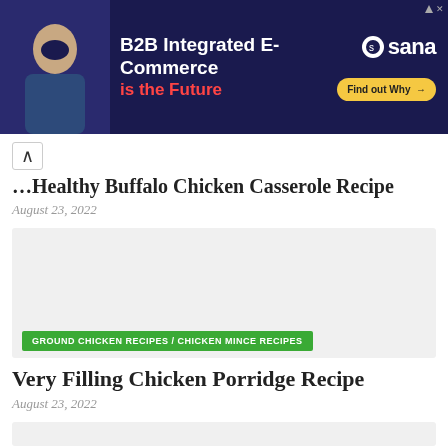[Figure (photo): Advertisement banner for Sana B2B Integrated E-Commerce with a man smiling on the left, dark navy background, headline 'B2B Integrated E-Commerce is the Future', yellow 'Find out Why' button, and Sana logo.]
Healthy Buffalo Chicken Casserole Recipe
August 23, 2022
[Figure (photo): Gray placeholder image card with green tag 'GROUND CHICKEN RECIPES / CHICKEN MINCE RECIPES']
Very Filling Chicken Porridge Recipe
August 23, 2022